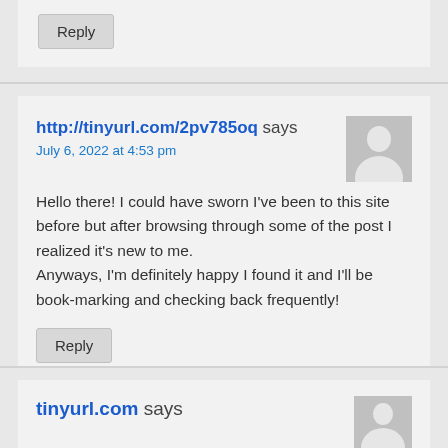Reply
http://tinyurl.com/2pv785oq says
July 6, 2022 at 4:53 pm
Hello there! I could have sworn I've been to this site before but after browsing through some of the post I realized it's new to me. Anyways, I'm definitely happy I found it and I'll be book-marking and checking back frequently!
Reply
tinyurl.com says